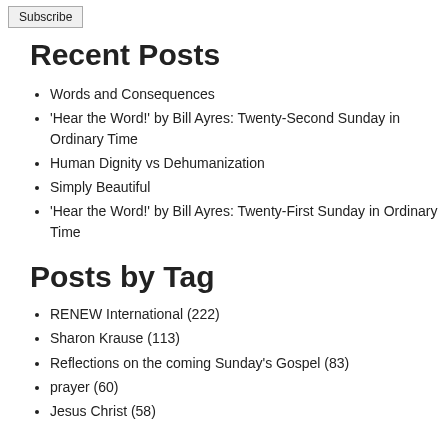Subscribe
Recent Posts
Words and Consequences
'Hear the Word!' by Bill Ayres: Twenty-Second Sunday in Ordinary Time
Human Dignity vs Dehumanization
Simply Beautiful
'Hear the Word!' by Bill Ayres: Twenty-First Sunday in Ordinary Time
Posts by Tag
RENEW International (222)
Sharon Krause (113)
Reflections on the coming Sunday's Gospel (83)
prayer (60)
Jesus Christ (58)